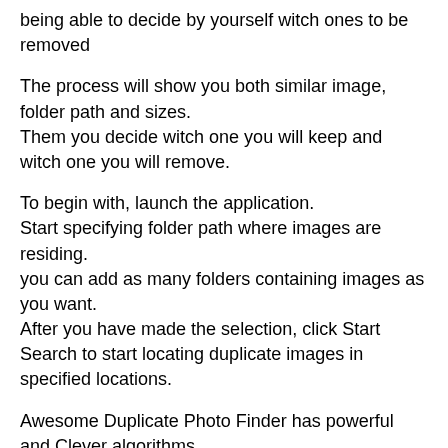being able to decide by yourself witch ones to be removed
The process will show you both similar image, folder path and sizes.
Them you decide witch one you will keep and witch one you will remove.
To begin with, launch the application.
Start specifying folder path where images are residing.
you can add as many folders containing images as you want.
After you have made the selection, click Start Search to start locating duplicate images in specified locations.
Awesome Duplicate Photo Finder has powerful and Clever algorithms
to find similar or exact duplicate photos.
It´s easy to use because it has extremely simple user interface.
Compatible following image types: JPG, BMP, GIF, PNG, TIFF, CR2 RAW
You can add multiple folders or drives for scanning,
no limitation for number of files.